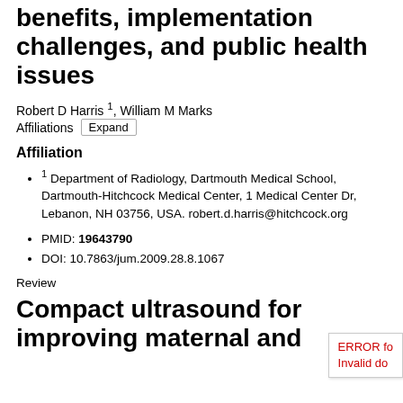benefits, implementation challenges, and public health issues
Robert D Harris 1, William M Marks
Affiliations  Expand
Affiliation
1 Department of Radiology, Dartmouth Medical School, Dartmouth-Hitchcock Medical Center, 1 Medical Center Dr, Lebanon, NH 03756, USA. robert.d.harris@hitchcock.org
PMID: 19643790
DOI: 10.7863/jum.2009.28.8.1067
Review
Compact ultrasound for improving maternal and